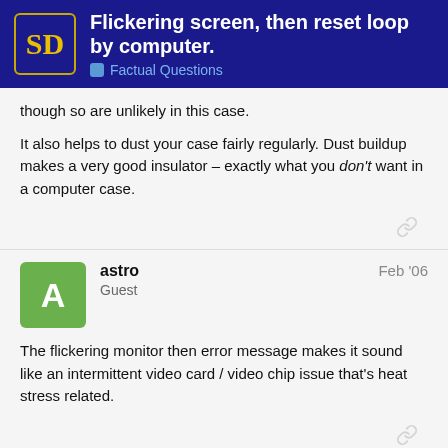Flickering screen, then reset loop by computer. | Factual Questions
though so are unlikely in this case.
It also helps to dust your case fairly regularly. Dust buildup makes a very good insulator – exactly what you don't want in a computer case.
astro | Guest | Feb '06
The flickering monitor then error message makes it sound like an intermittent video card / video chip issue that's heat stress related.
ADVERTISEMENT